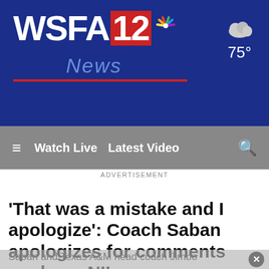[Figure (logo): WSFA 12 News logo with NBC peacock on dark blue banner background, with weather showing cloud icon and 75°]
≡  Watch Live  Latest Video  🔍
ADVERTISEMENT
'That was a mistake and I apologize': Coach Saban apologizes for comments made on NIL
Saban and Texas A&M head coach Jimbo Fisher publicly clashed by the CFO...